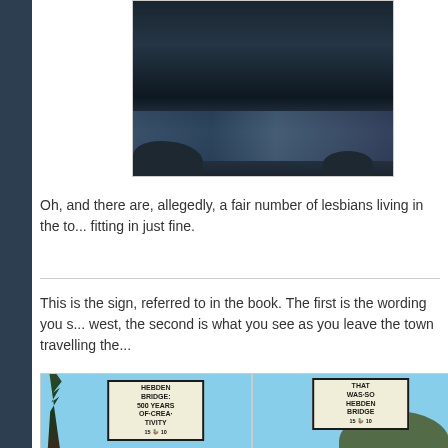[Figure (photo): Aerial or close-up photo of a rocky river or stream with dark water]
Oh, and there are, allegedly, a fair number of lesbians living in the to... fitting in just fine.
This is the sign, referred to in the book. The first is the wording you s... west, the second is what you see as you leave the town travelling the...
[Figure (photo): Photo of a sign reading HEBDEN BRIDGE: 500 YEARS OF CREATIVITY with trees in background]
[Figure (photo): Photo of a sign reading THAT WAS SO HEBDEN BRIDGE with hills in background]